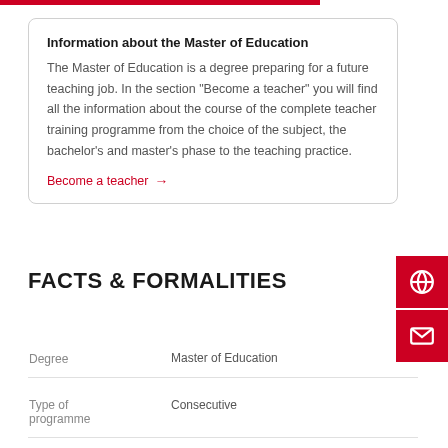Information about the Master of Education
The Master of Education is a degree preparing for a future teaching job. In the section "Become a teacher" you will find all the information about the course of the complete teacher training programme from the choice of the subject, the bachelor's and master's phase to the teaching practice.
Become a teacher →
FACTS & FORMALITIES
|  |  |
| --- | --- |
| Degree | Master of Education |
| Type of programme | Consecutive |